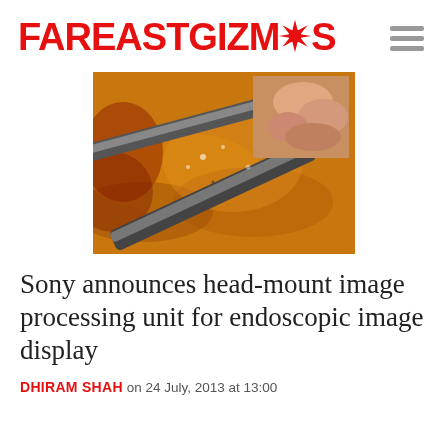FAREASTGIZMOS
[Figure (photo): Endoscopic surgical image showing instruments and tissue in orange/yellow tones, with a smaller inset image in the top right corner showing a close-up of fingers or tissue.]
Sony announces head-mount image processing unit for endoscopic image display
DHIRAM SHAH on 24 July, 2013 at 13:00